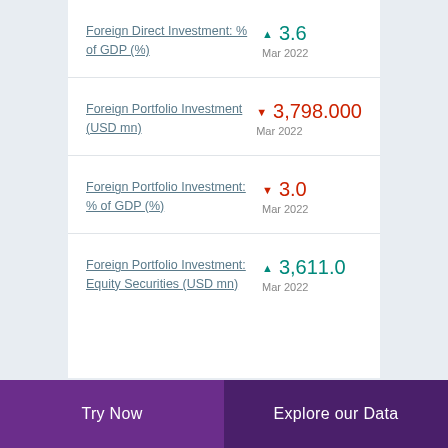Foreign Direct Investment: % of GDP (%)
Foreign Portfolio Investment (USD mn)
Foreign Portfolio Investment: % of GDP (%)
Foreign Portfolio Investment: Equity Securities (USD mn)
Try Now  Explore our Data